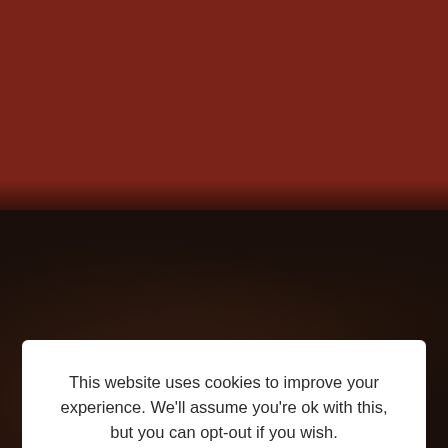[Figure (screenshot): Website background showing a dark reddish-brown top section and a very dark near-black bottom section with blurred overlay. Right side shows partial UI elements including a scroll-up button, Email Address input field, and Message input field.]
This website uses cookies to improve your experience. We'll assume you're ok with this, but you can opt-out if you wish.  Cookie settings  ACCEPT